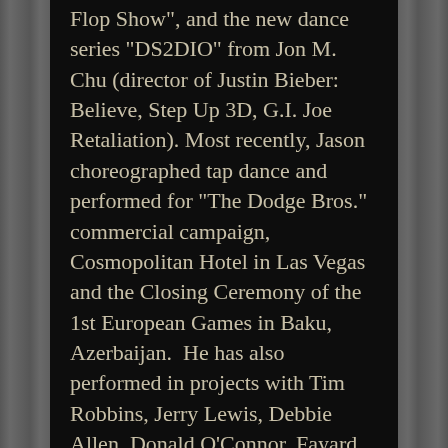Flop Show", and the new dance series "DS2DIO" from Jon M. Chu (director of Justin Bieber: Believe, Step Up 3D, G.I. Joe Retaliation). Most recently, Jason choreographed tap dance and performed for "The Dodge Bros." commercial campaign, Cosmopolitan Hotel in Las Vegas and the Closing Ceremony of the 1st European Games in Baku, Azerbaijan.  He has also performed in projects with Tim Robbins, Jerry Lewis, Debbie Allen, Donald O'Connor, Fayard Nicholas, Eddie Brown, & George C. Wolfe.
Jason's international experience includes performing on the Academy Awards, the North American tour of the Broadway musical "Bring In Da